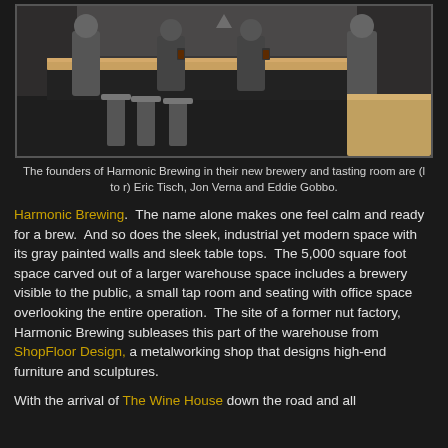[Figure (photo): Three founders of Harmonic Brewing standing behind a wooden bar counter in their new brewery and tasting room. Industrial style interior with gray walls, bar stools, and wooden table tops.]
The founders of Harmonic Brewing in their new brewery and tasting room are (l to r) Eric Tisch, Jon Verna and Eddie Gobbo.
Harmonic Brewing. The name alone makes one feel calm and ready for a brew. And so does the sleek, industrial yet modern space with its gray painted walls and sleek table tops. The 5,000 square foot space carved out of a larger warehouse space includes a brewery visible to the public, a small tap room and seating with office space overlooking the entire operation. The site of a former nut factory, Harmonic Brewing subleases this part of the warehouse from ShopFloor Design, a metalworking shop that designs high-end furniture and sculptures.
With the arrival of The Wine House down the road and all